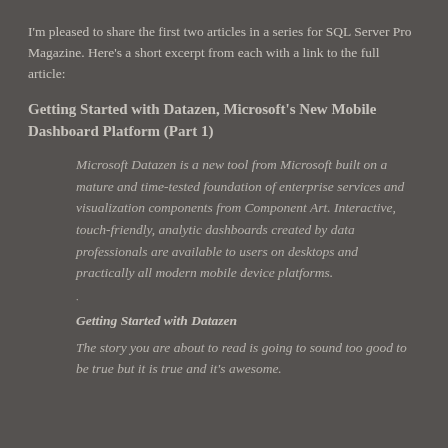I'm pleased to share the first two articles in a series for SQL Server Pro Magazine.  Here's a short excerpt from each with a link to the full article:
Getting Started with Datazen, Microsoft's New Mobile Dashboard Platform (Part 1)
Microsoft Datazen is a new tool from Microsoft built on a mature and time-tested foundation of enterprise services and visualization components from Component Art.  Interactive, touch-friendly, analytic dashboards created by data professionals are available to users on desktops and practically all modern mobile device platforms.
·
Getting Started with Datazen
The story you are about to read is going to sound too good to be true but it is true and it's awesome.